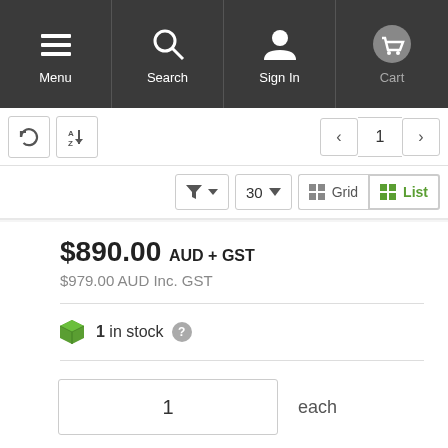Menu | Search | Sign In | Cart
< 1 >  30  Grid  List
$890.00 AUD + GST
$979.00 AUD Inc. GST
1 in stock
1  each
Add to Cart